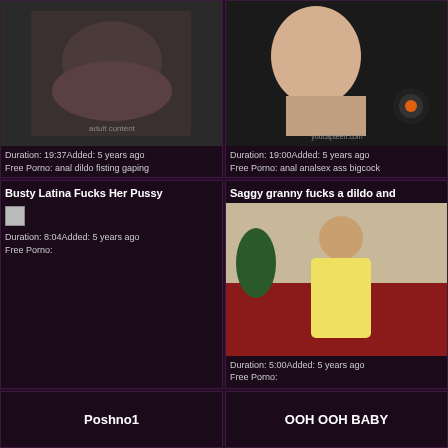[Figure (photo): Adult content thumbnail 1]
Duration: 19:37Added: 5 years ago
Free Porno: anal dildo fisting gaping
[Figure (photo): Adult content thumbnail 2]
Duration: 19:00Added: 5 years ago
Free Porno: anal analsex ass bigcock
Busty Latina Fucks Her Pussy
Duration: 8:04Added: 5 years ago
Free Porno:
Saggy granny fucks a dildo and
[Figure (photo): Adult content thumbnail 3 - older woman in yellow top]
Duration: 5:00Added: 5 years ago
Free Porno:
Poshno1
OOH OOH BABY